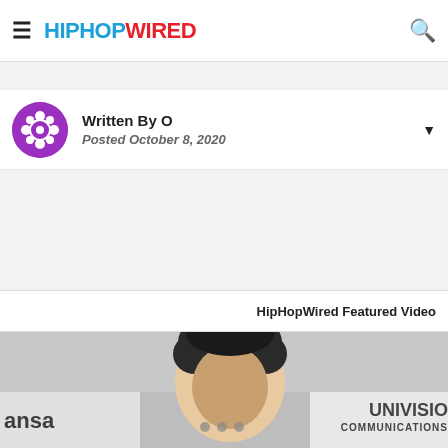HIPHOPWIRED
Written By O
Posted October 8, 2020
HipHopWired Featured Video
[Figure (photo): Person with curly hair at an event, with 'ansa' and 'UNIVISION COMMUNICATIONS' logos visible in the background]